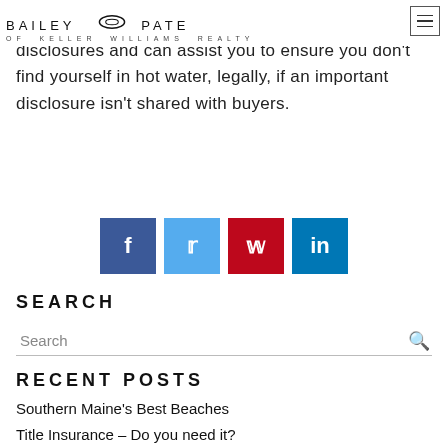BAILEY & PATE OF KELLER WILLIAMS REALTY
disclosures and can assist you to ensure you don't find yourself in hot water, legally, if an important disclosure isn't shared with buyers.
[Figure (infographic): Social share buttons: Facebook (dark blue), Twitter (light blue), Pinterest (dark red), LinkedIn (teal blue)]
SEARCH
Search
RECENT POSTS
Southern Maine's Best Beaches
Title Insurance – Do you need it?